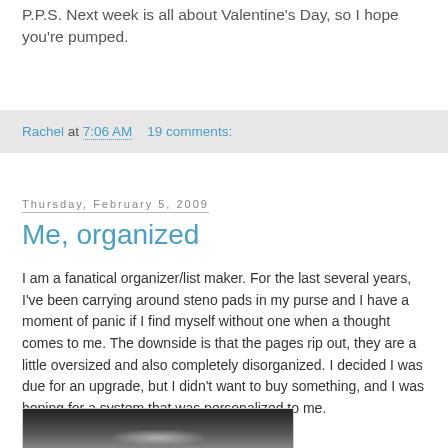P.P.S. Next week is all about Valentine's Day, so I hope you're pumped.
Rachel at 7:06 AM   19 comments:
Thursday, February 5, 2009
Me, organized
I am a fanatical organizer/list maker. For the last several years, I've been carrying around steno pads in my purse and I have a moment of panic if I find myself without one when a thought comes to me. The downside is that the pages rip out, they are a little oversized and also completely disorganized. I decided I was due for an upgrade, but I didn't want to buy something, and I was hoping for a system that was personalized to me.
So I made one.
[Figure (photo): Photo of a handmade organizer against a dark background]